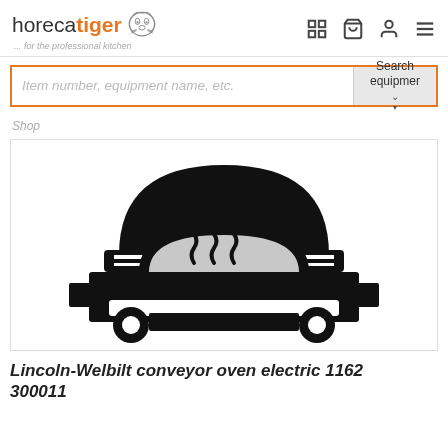horecatiger ... for the professional kitchen
Item number, equipment name, etc.
Search equipment
Shop
[Figure (illustration): Black silhouette icon of a conveyor oven / pizza oven with heat waves visible inside the chamber window, viewed from the front]
Lincoln-Welbilt conveyor oven electric 1162 300011